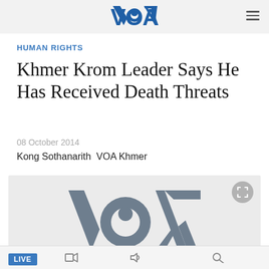VOA (Voice of America) logo header with hamburger menu
HUMAN RIGHTS
Khmer Krom Leader Says He Has Received Death Threats
08 October 2014
Kong Sothanarith  VOA Khmer
[Figure (screenshot): VOA media player showing large gray VOA logo on light gray background with fullscreen button in top right corner]
LIVE  [video icon] [audio icon] [search icon]